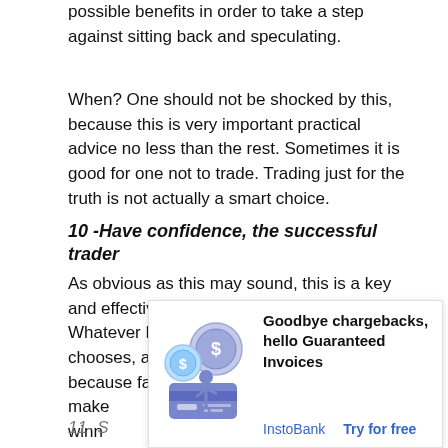possible benefits in order to take a step against sitting back and speculating.
When? One should not be shocked by this, because this is very important practical advice no less than the rest. Sometimes it is good for one not to trade. Trading just for the truth is not actually a smart choice.
10 -Have confidence, the successful trader
As obvious as this may sound, this is a key and effective component of the trader. Whatever Forex day trading style he chooses, a trader must believe in himself because failing to believe in the efforts he makes will not make him a winner.
[Figure (advertisement): Ad overlay: illustration of a man with coins and credit card, headline 'Goodbye chargebacks, hello Guaranteed Invoices', links 'InstoBank' and 'Try for free']
11- S